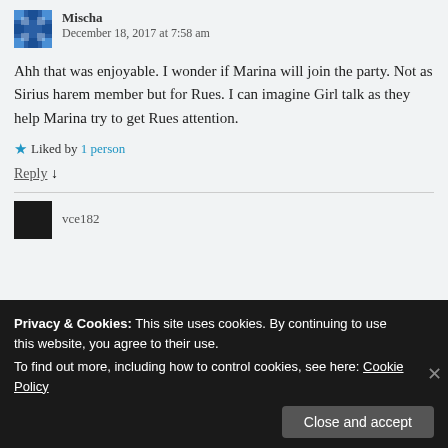Mischa — December 18, 2017 at 7:58 am
Ahh that was enjoyable. I wonder if Marina will join the party. Not as Sirius harem member but for Rues. I can imagine Girl talk as they help Marina try to get Rues attention.
★ Liked by 1 person
Reply ↓
vce182
Privacy & Cookies: This site uses cookies. By continuing to use this website, you agree to their use. To find out more, including how to control cookies, see here: Cookie Policy